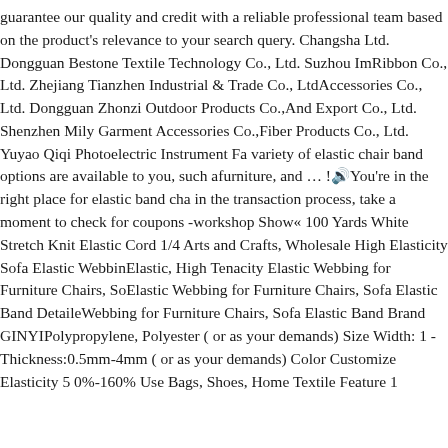guarantee our quality and credit with a reliable professional team based on the product's relevance to your search query. Changsha Ltd. Dongguan Bestone Textile Technology Co., Ltd. Suzhou Im Ribbon Co., Ltd. Zhejiang Tianzhen Industrial & Trade Co., Ltd Accessories Co., Ltd. Dongguan Zhonzi Outdoor Products Co., And Export Co., Ltd. Shenzhen Mily Garment Accessories Co., Fiber Products Co., Ltd. Yuyao Qiqi Photoelectric Instrument Fa variety of elastic chair band options are available to you, such a furniture, and … !🔊You're in the right place for elastic band cha in the transaction process, take a moment to check for coupons - workshop Show« 100 Yards White Stretch Knit Elastic Cord 1/4 Arts and Crafts, Wholesale High Elasticity Sofa Elastic Webbin Elastic, High Tenacity Elastic Webbing for Furniture Chairs, So Elastic Webbing for Furniture Chairs, Sofa Elastic Band Detaile Webbing for Furniture Chairs, Sofa Elastic Band Brand GINYI Polypropylene, Polyester ( or as your demands) Size Width: 1 - Thickness:0.5mm-4mm ( or as your demands) Color Customize Elasticity 5 0%-160% Use Bags, Shoes, Home Textile Feature 1